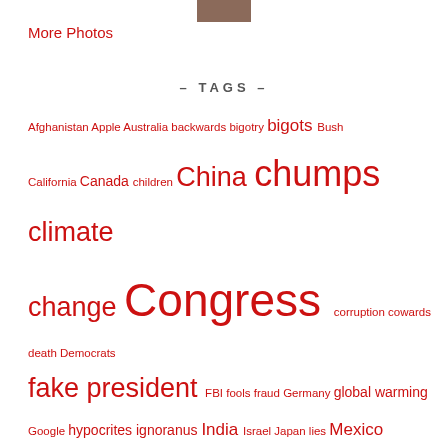[Figure (photo): Small cropped photo at top center]
More Photos
– TAGS –
Afghanistan Apple Australia backwards bigotry bigots Bush California Canada children China chumps climate change Congress corruption cowards death Democrats fake president FBI fools fraud Germany global warming Google hypocrites ignoranus India Israel Japan lies Mexico murder NASA New Mexico NRA NSA Obama Pakistan police racism Republican Republican Party Republicans sex tea party Texas Trump UK United States